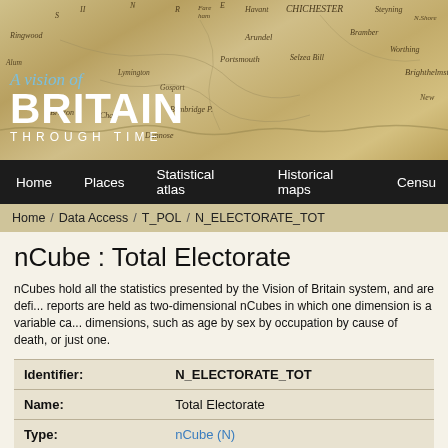[Figure (illustration): A Vision of Britain Through Time website header with an antique map background showing southern England coastline (Chichester, Portsmouth, Brighton area). Logo text reads 'A vision of Britain THROUGH TIME' in white over the map.]
Home   Places   Statistical atlas   Historical maps   Census
Home / Data Access / T_POL / N_ELECTORATE_TOT
nCube : Total Electorate
nCubes hold all the statistics presented by the Vision of Britain system, and are defi... reports are held as two-dimensional nCubes in which one dimension is a variable ca... dimensions, such as age by sex by occupation by cause of death, or just one.
| Field | Value |
| --- | --- |
| Identifier: | N_ELECTORATE_TOT |
| Name: | Total Electorate |
| Type: | nCube (N) |
| Root unit: | Great Britain ( Show data ) |